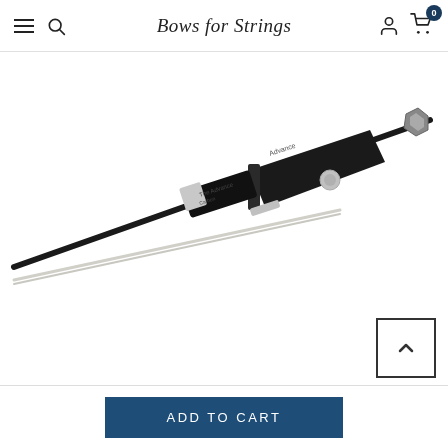Bows for Strings
[Figure (photo): A violin bow with black carbon fiber stick and silver frog, angled diagonally across the frame. The frog has silver accents and visible branding text 'Advance' on the grip area. White horsehair is visible below the stick.]
ADD TO CART